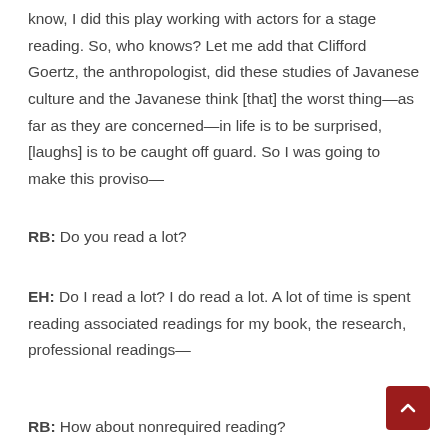know, I did this play working with actors for a stage reading. So, who knows? Let me add that Clifford Goertz, the anthropologist, did these studies of Javanese culture and the Javanese think [that] the worst thing—as far as they are concerned—in life is to be surprised, [laughs] is to be caught off guard. So I was going to make this proviso—
RB: Do you read a lot?
EH: Do I read a lot? I do read a lot. A lot of time is spent reading associated readings for my book, the research, professional readings—
RB: How about nonrequired reading?